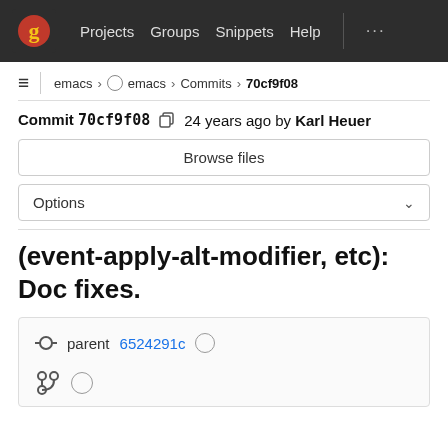Projects  Groups  Snippets  Help  ...
emacs > emacs > Commits > 70cf9f08
Commit 70cf9f08  24 years ago by Karl Heuer
Browse files
Options
(event-apply-alt-modifier, etc): Doc fixes.
parent 6524291c